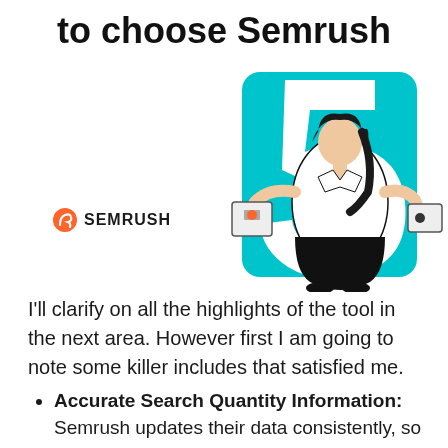to choose Semrush
[Figure (illustration): Illustration of a person holding boxes with a large cyan number 5 in the background, and the Semrush logo below on the left]
I'll clarify on all the highlights of the tool in the next area. However first I am going to note some killer includes that satisfied me.
Accurate Search Quantity Information: Semrush updates their data consistently, so the numbers you see on their platform are current and also precise.